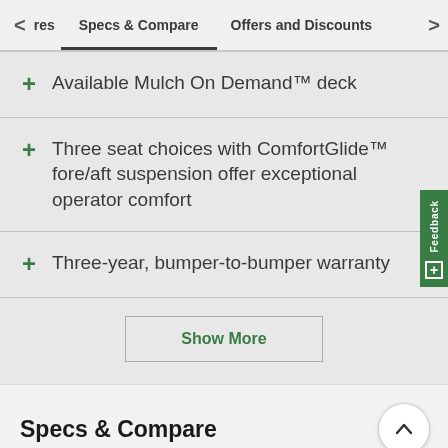< res   Specs & Compare   Offers and Discounts   >
+ Available Mulch On Demand™ deck
+ Three seat choices with ComfortGlide™ fore/aft suspension offer exceptional operator comfort
+ Three-year, bumper-to-bumper warranty
Show More
Specs & Compare